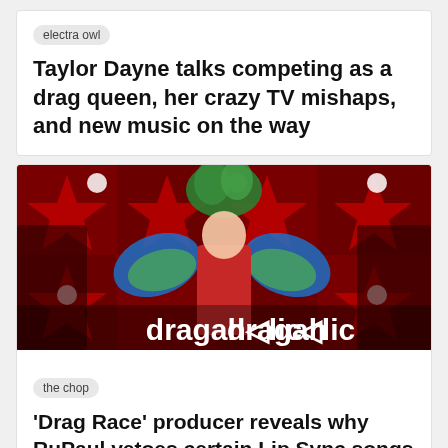electra owl
Taylor Dayne talks competing as a drag queen, her crazy TV mishaps, and new music on the way
[Figure (photo): A drag performer in a red sequined outfit with large green feathered headdress and colorful parrot-like wing accessories on stage with red star-patterned backdrop. The 'dragaholic' logo appears in white text overlay at the bottom right.]
the chop
‘Drag Race’ producer reveals why RuPaul vetoes certain Lip Sync songs